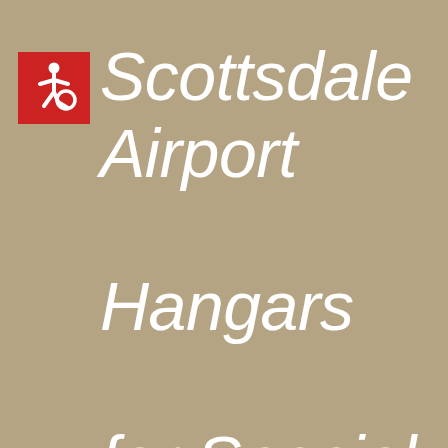[Figure (illustration): Accessibility wheelchair symbol icon in white on a red square background]
Scottsdale Airport Hangars for Special Events.